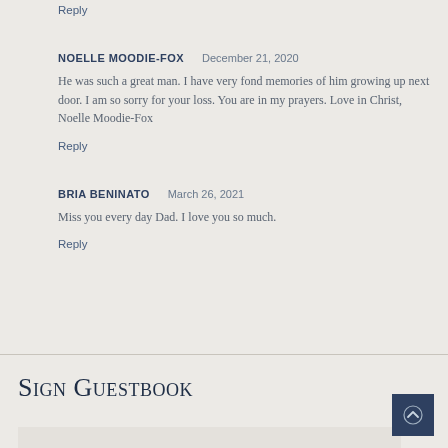Reply
NOELLE MOODIE-FOX    December 21, 2020
He was such a great man. I have very fond memories of him growing up next door. I am so sorry for your loss. You are in my prayers. Love in Christ, Noelle Moodie-Fox
Reply
BRIA BENINATO    March 26, 2021
Miss you every day Dad. I love you so much.
Reply
Sign Guestbook
Name *